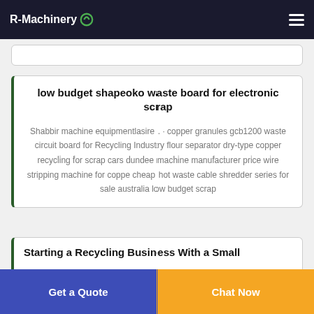R-Machinery
low budget shapeoko waste board for electronic scrap
Shabbir machine equipmentlasire . · copper granules gcb1200 waste circuit board for Recycling Industry flour separator dry-type copper recycling for scrap cars dundee machine manufacturer price wire stripping machine for coppe cheap hot waste cable shredder series for sale australia low budget scrap
Starting a Recycling Business With a Small
Get a Quote
Chat Now